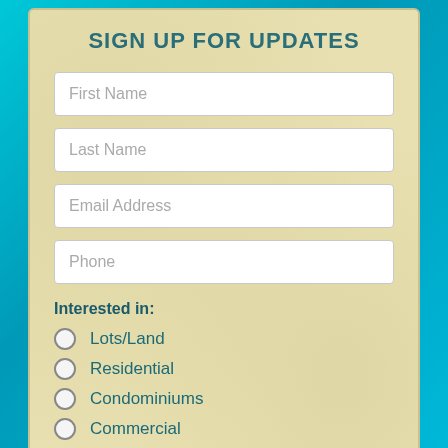SIGN UP FOR UPDATES
First Name
Last Name
Email Address
Phone
Interested in:
Lots/Land
Residential
Condominiums
Commercial
Sign up